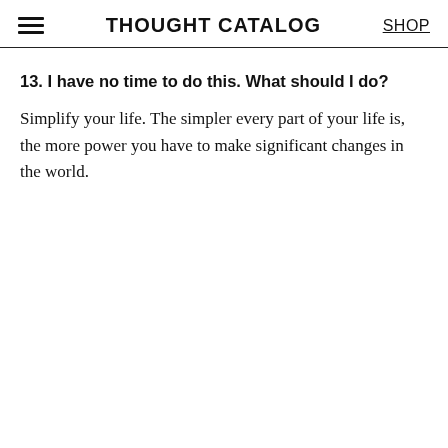THOUGHT CATALOG | SHOP
13. I have no time to do this. What should I do?
Simplify your life. The simpler every part of your life is, the more power you have to make significant changes in the world.